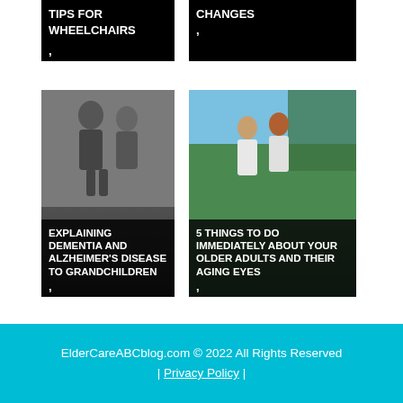[Figure (screenshot): Black card with white bold text 'TIPS FOR WHEELCHAIRS' and a comma below]
[Figure (screenshot): Black card with white bold text 'CHANGES ,' ]
[Figure (photo): Grayscale photo of two people with overlay text 'EXPLAINING DEMENTIA AND ALZHEIMER'S DISEASE TO GRANDCHILDREN ,']
[Figure (photo): Color photo of two women outdoors with overlay text '5 THINGS TO DO IMMEDIATELY ABOUT YOUR OLDER ADULTS AND THEIR AGING EYES ,']
ElderCareABCblog.com © 2022 All Rights Reserved | Privacy Policy |